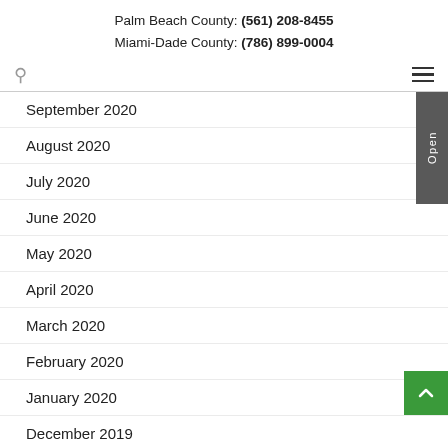Palm Beach County: (561) 208-8455
Miami-Dade County: (786) 899-0004
September 2020
August 2020
July 2020
June 2020
May 2020
April 2020
March 2020
February 2020
January 2020
December 2019